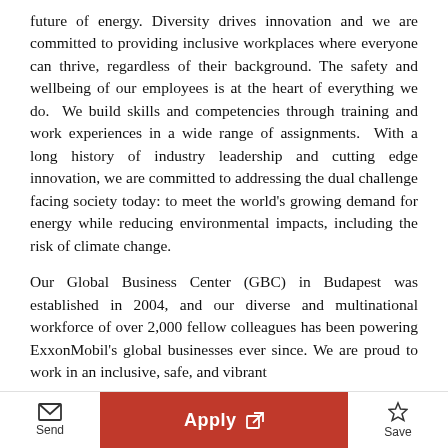future of energy. Diversity drives innovation and we are committed to providing inclusive workplaces where everyone can thrive, regardless of their background. The safety and wellbeing of our employees is at the heart of everything we do.  We build skills and competencies through training and work experiences in a wide range of assignments.  With a long history of industry leadership and cutting edge innovation, we are committed to addressing the dual challenge facing society today: to meet the world's growing demand for energy while reducing environmental impacts, including the risk of climate change.
Our Global Business Center (GBC) in Budapest was established in 2004, and our diverse and multinational workforce of over 2,000 fellow colleagues has been powering ExxonMobil's global businesses ever since. We are proud to work in an inclusive, safe, and vibrant